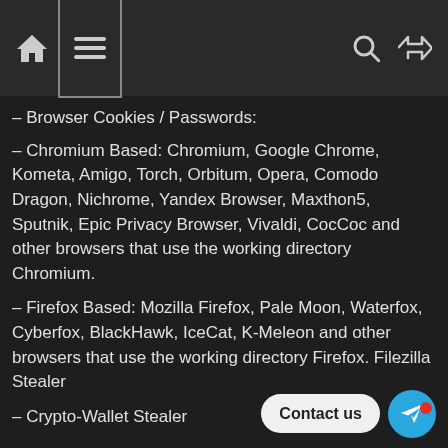[Figure (screenshot): Dark-themed website navigation bar with home icon, hamburger menu button, search icon, and shuffle icon]
– Browser Cookies / Passwords:
– Chromium Based: Chromium, Google Chrome, Kometa, Amigo, Torch, Orbitum, Opera, Comodo Dragon, Nichrome, Yandex Browser, Maxthon5, Sputnik, Epic Privacy Browser, Vivaldi, CocCoc and other browsers that use the working directory Chromium.
– Firefox Based: Mozilla Firefox, Pale Moon, Waterfox, Cyberfox, BlackHawk, IceCat, K-Meleon and other browsers that use the working directory Firefox. Filezilla Stealer
– Crypto-Wallet Stealer
– BitCoin Core, Ethereum, ElectrumLTC, Monero, Electrum, Exodus, Dash, Litecoin, Electron, GoldZCash